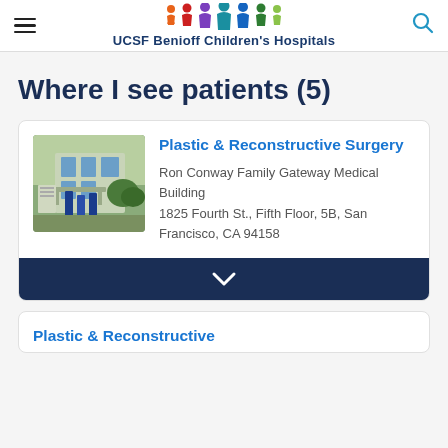UCSF Benioff Children's Hospitals
Where I see patients (5)
[Figure (photo): Exterior photo of Ron Conway Family Gateway Medical Building with blue banner flags]
Plastic & Reconstructive Surgery
Ron Conway Family Gateway Medical Building
1825 Fourth St., Fifth Floor, 5B, San Francisco, CA 94158
Plastic & Reconstructive